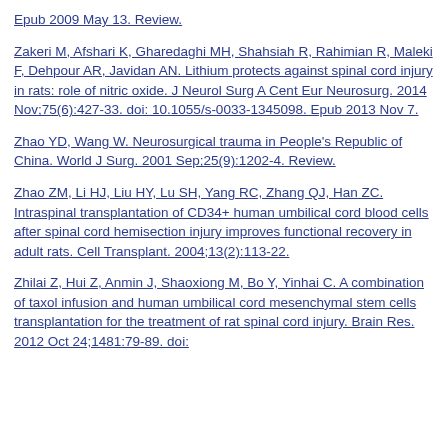Epub 2009 May 13. Review.
Zakeri M, Afshari K, Gharedaghi MH, Shahsiah R, Rahimian R, Maleki F, Dehpour AR, Javidan AN. Lithium protects against spinal cord injury in rats: role of nitric oxide. J Neurol Surg A Cent Eur Neurosurg. 2014 Nov;75(6):427-33. doi: 10.1055/s-0033-1345098. Epub 2013 Nov 7.
Zhao YD, Wang W. Neurosurgical trauma in People's Republic of China. World J Surg. 2001 Sep;25(9):1202-4. Review.
Zhao ZM, Li HJ, Liu HY, Lu SH, Yang RC, Zhang QJ, Han ZC. Intraspinal transplantation of CD34+ human umbilical cord blood cells after spinal cord hemisection injury improves functional recovery in adult rats. Cell Transplant. 2004;13(2):113-22.
Zhilai Z, Hui Z, Anmin J, Shaoxiong M, Bo Y, Yinhai C. A combination of taxol infusion and human umbilical cord mesenchymal stem cells transplantation for the treatment of rat spinal cord injury. Brain Res. 2012 Oct 24;1481:79-89. doi: